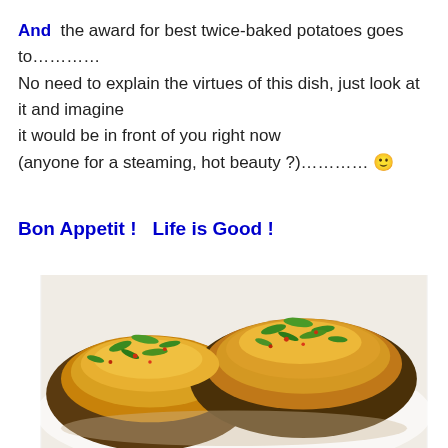And the award for best twice-baked potatoes goes to…………
No need to explain the virtues of this dish, just look at it and imagine
it would be in front of you right now
(anyone for a steaming, hot beauty ?)………… 🙂
Bon Appetit !   Life is Good !
[Figure (photo): Close-up photo of twice-baked potatoes topped with melted cheese, green onions/scallions, and spices on a white plate]